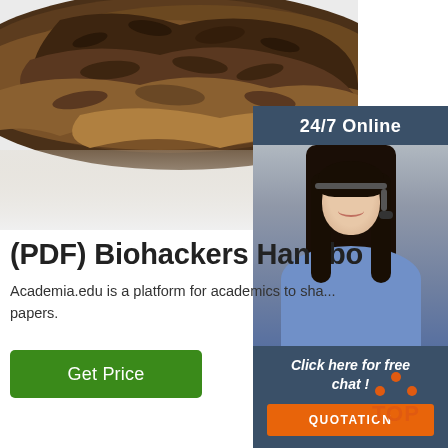[Figure (photo): Close-up photo of dried tea leaves or bark-like material on a white surface, dark brown textured material in foreground fading to white background.]
[Figure (photo): Advertisement panel showing a woman wearing a headset (customer service representative) with '24/7 Online' header, 'Click here for free chat!' text, and orange QUOTATION button.]
(PDF) Biohackers Handbo...
Academia.edu is a platform for academics to sha... papers.
[Figure (other): Green 'Get Price' button]
[Figure (logo): Orange TOP logo with dots arranged in triangle pattern above the word TOP]